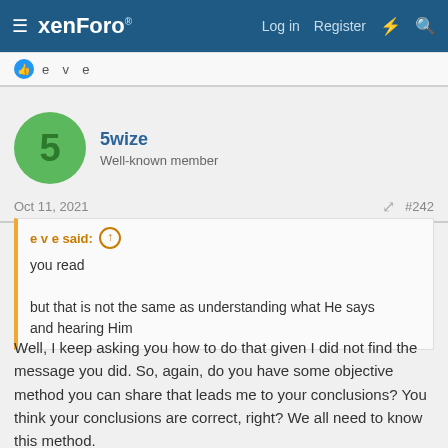xenForo  Log in  Register  #242
👍 e v e
5wize
Well-known member
Oct 11, 2021  #242
e v e said:
you read
but that is not the same as understanding what He says
and hearing Him
Well, I keep asking you how to do that given I did not find the message you did. So, again, do you have some objective method you can share that leads me to your conclusions? You think your conclusions are correct, right? We all need to know this method.